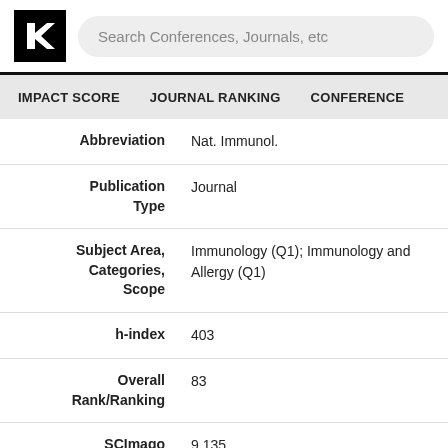Search Conferences, Journals, etc
IMPACT SCORE   JOURNAL RANKING   CONFERENCE
| Field | Value |
| --- | --- |
| Abbreviation | Nat. Immunol. |
| Publication Type | Journal |
| Subject Area, Categories, Scope | Immunology (Q1); Immunology and Allergy (Q1) |
| h-index | 403 |
| Overall Rank/Ranking | 83 |
| SCImago Journal Rank | 9.135 |